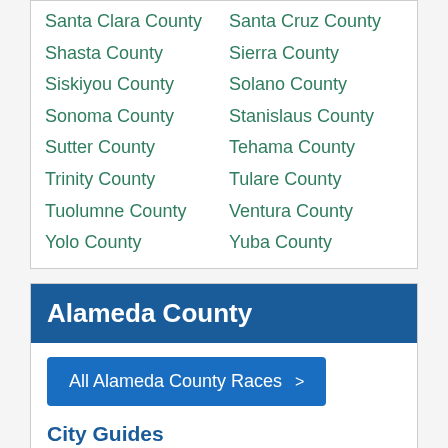Santa Clara County
Santa Cruz County
Shasta County
Sierra County
Siskiyou County
Solano County
Sonoma County
Stanislaus County
Sutter County
Tehama County
Trinity County
Tulare County
Tuolumne County
Ventura County
Yolo County
Yuba County
Alameda County
All Alameda County Races >
City Guides
If you know your city, pick your local guide below.
Berkeley > Fremont > Hayward >